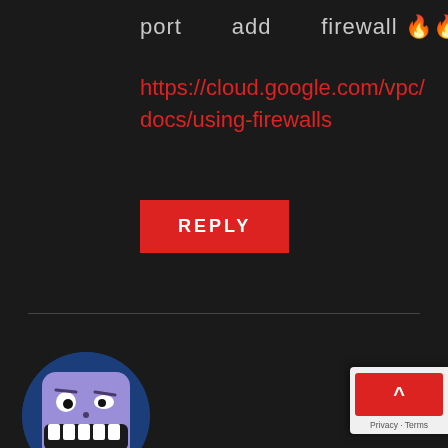port      add      firewall 🔥🔥🔥
https://cloud.google.com/vpc/docs/using-firewalls
REPLY
[Figure (illustration): Avatar image of user 'Raze' - a troll-face character with purple/blue coloring inside a dark blue circular border]
Raze
NOVEMBER 16, 2020 AT 6:50 AM